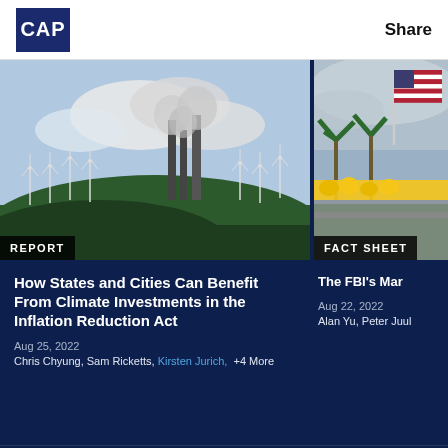CAP | Share
[Figure (photo): Wind turbines and industrial smokestacks against a green forested hill with a cloudy sky. Badge: REPORT]
[Figure (photo): American flag on a pole with palm trees and yellow flowers in background. Badge: FACT SHEET]
How States and Cities Can Benefit From Climate Investments in the Inflation Reduction Act
Aug 25, 2022
Chris Chyung, Sam Ricketts, Kirsten Jurich, +4 More
The FBI's Mar
Aug 22, 2022
Alan Yu, Peter Juul
The Center for American Progress